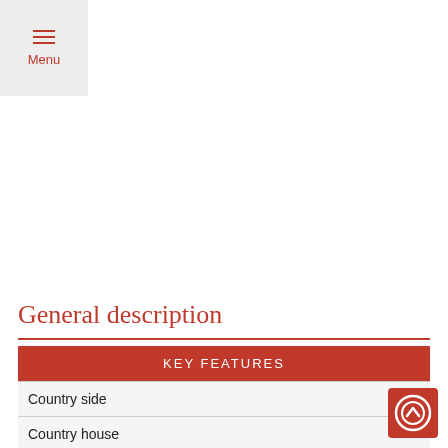Menu
General description
| KEY FEATURES |  |
| --- | --- |
| Country side |  |
| Country house |  |
| Number of persons | 10 |
| Number of bedrooms | 4 |
| Swimming-pool |  |
| Nber of level(s) | 1 |
| View on the hills |  |